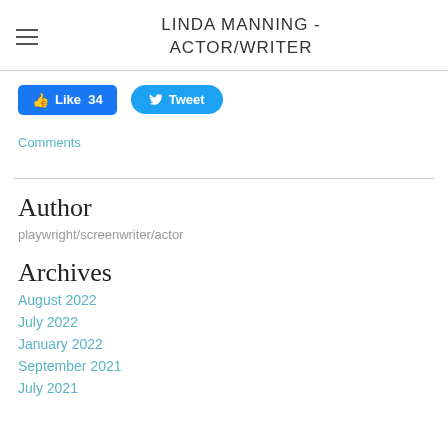LINDA MANNING - ACTOR/WRITER
[Figure (screenshot): Social sharing buttons: Facebook Like (34) and Twitter Tweet]
Comments
Author
playwright/screenwriter/actor
Archives
August 2022
July 2022
January 2022
September 2021
July 2021